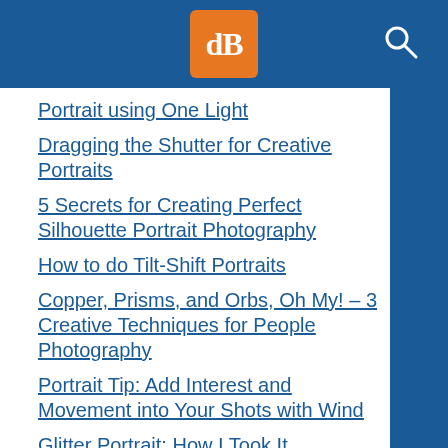dPS (digital Photography school) logo and search icon
Portrait using One Light
Dragging the Shutter for Creative Portraits
5 Secrets for Creating Perfect Silhouette Portrait Photography
How to do Tilt-Shift Portraits
Copper, Prisms, and Orbs, Oh My! – 3 Creative Techniques for People Photography
Portrait Tip: Add Interest and Movement into Your Shots with Wind
Glitter Portrait: How I Took It
How to Create a Unique Bokeh Portrait for Under $10